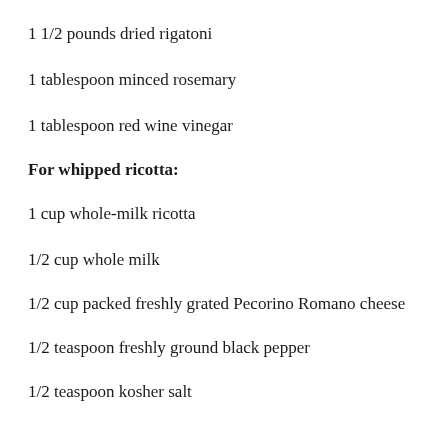1 1/2 pounds dried rigatoni
1 tablespoon minced rosemary
1 tablespoon red wine vinegar
For whipped ricotta:
1 cup whole-milk ricotta
1/2 cup whole milk
1/2 cup packed freshly grated Pecorino Romano cheese
1/2 teaspoon freshly ground black pepper
1/2 teaspoon kosher salt
Season the lamb on all sides with 2 teaspoons of the salt. Warm a large Dutch oven over medium-high heat.